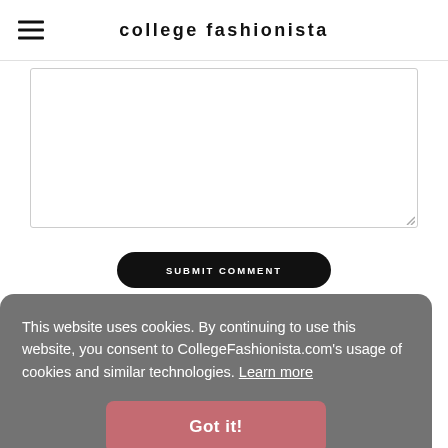college fashionista
[Figure (screenshot): Text input textarea box, partially cropped at top, with resize handle at bottom right]
[Figure (screenshot): Submit Comment button, dark rounded pill-shaped button with white uppercase text]
Trending
This website uses cookies. By continuing to use this website, you consent to CollegeFashionista.com's usage of cookies and similar technologies. Learn more
[Figure (screenshot): Got it! button, pink/rose colored rounded rectangle button]
ABOUT US   CONTACT US   TERMS AND CONDITIONS